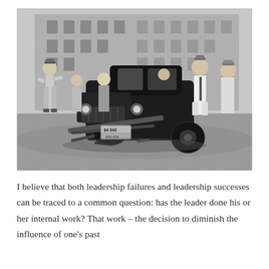[Figure (photo): Black and white historical photograph showing a damaged early automobile (license plate 84342) with collapsed front wheel/axle, surrounded by a crowd of onlookers on a city street with a large building in the background.]
I believe that both leadership failures and leadership successes can be traced to a common question: has the leader done his or her internal work? That work – the decision to diminish the influence of one's past